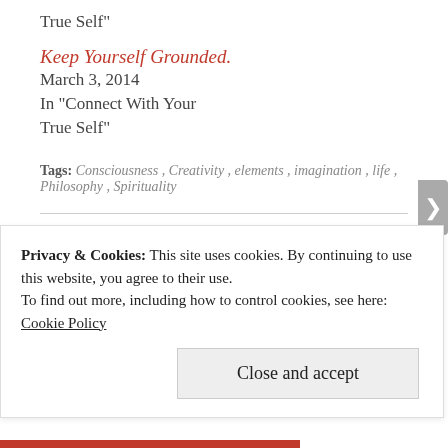True Self"
Keep Yourself Grounded.
March 3, 2014
In "Connect With Your True Self"
Tags: Consciousness, Creativity, elements, imagination, life, Philosophy, Spirituality
COPYRIGHT
© John Kurth and Doug Does Life, 2015. Unauthorized use and/or duplication of this material without express and written permission from this blog's author and/or owner is strictly prohibited. Excerpts
Privacy & Cookies: This site uses cookies. By continuing to use this website, you agree to their use.
To find out more, including how to control cookies, see here: Cookie Policy
Close and accept